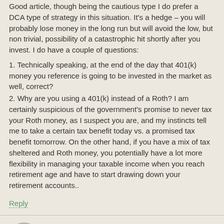Good article, though being the cautious type I do prefer a DCA type of strategy in this situation. It's a hedge – you will probably lose money in the long run but will avoid the low, but non trivial, possibility of a catastrophic hit shortly after you invest. I do have a couple of questions:
1. Technically speaking, at the end of the day that 401(k) money you reference is going to be invested in the market as well, correct?
2. Why are you using a 401(k) instead of a Roth? I am certainly suspicious of the government's promise to never tax your Roth money, as I suspect you are, and my instincts tell me to take a certain tax benefit today vs. a promised tax benefit tomorrow. On the other hand, if you have a mix of tax sheltered and Roth money, you potentially have a lot more flexibility in managing your taxable income when you reach retirement age and have to start drawing down your retirement accounts..
Reply
mary w
August 21, 2014
Presumably he is using the 401k rather than Roth IRA because the limit is much higher for the 401k. Also with his income (not his spending) he can use